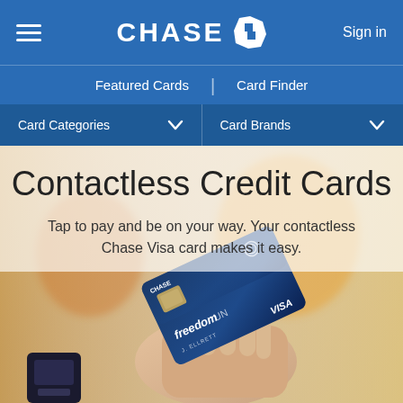[Figure (logo): Chase bank logo with octagon symbol and CHASE text in white on blue navigation bar]
Featured Cards | Card Finder
Card Categories ▾  Card Brands ▾
Contactless Credit Cards
Tap to pay and be on your way. Your contactless Chase Visa card makes it easy.
[Figure (photo): Person holding a Chase Freedom Unlimited Visa credit card near a payment terminal contactless reader]